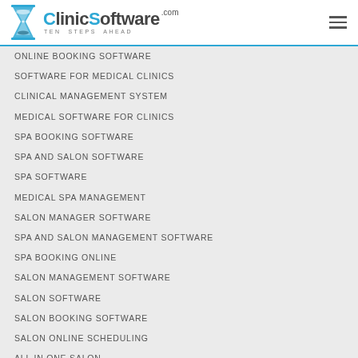ClinicSoftware.com TEN STEPS AHEAD
ONLINE BOOKING SOFTWARE
SOFTWARE FOR MEDICAL CLINICS
CLINICAL MANAGEMENT SYSTEM
MEDICAL SOFTWARE FOR CLINICS
SPA BOOKING SOFTWARE
SPA AND SALON SOFTWARE
SPA SOFTWARE
MEDICAL SPA MANAGEMENT
SALON MANAGER SOFTWARE
SPA AND SALON MANAGEMENT SOFTWARE
SPA BOOKING ONLINE
SALON MANAGEMENT SOFTWARE
SALON SOFTWARE
SALON BOOKING SOFTWARE
SALON ONLINE SCHEDULING
ALL IN ONE SALON
RESOURCES